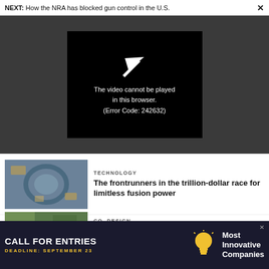NEXT: How the NRA has blocked gun control in the U.S.
[Figure (screenshot): Video player error box on dark grey background. Black box with a play icon and text: The video cannot be played in this browser. (Error Code: 242632)]
[Figure (photo): Aerial view of a circular industrial facility interior, likely a fusion or manufacturing lab]
TECHNOLOGY
The frontrunners in the trillion-dollar race for limitless fusion power
[Figure (photo): Partial view of a second article thumbnail, appears to show green/nature content]
CO. DESIGN
[Figure (screenshot): Advertisement banner: CALL FOR ENTRIES, DEADLINE: SEPTEMBER 23, Most Innovative Companies, with lightbulb icon]